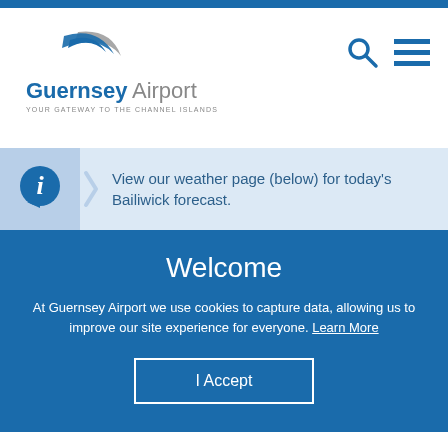[Figure (logo): Guernsey Airport logo with swoosh graphic and tagline YOUR GATEWAY TO THE CHANNEL ISLANDS]
[Figure (illustration): Search icon (magnifying glass) and hamburger menu icon in dark blue]
View our weather page (below) for today's Bailiwick forecast.
Welcome
At Guernsey Airport we use cookies to capture data, allowing us to improve our site experience for everyone. Learn More
I Accept